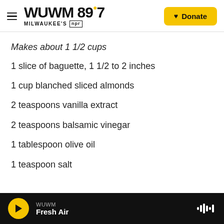WUWM 89.7 MILWAUKEE'S NPR — Donate
Makes about 1 1/2 cups
1 slice of baguette, 1 1/2 to 2 inches
1 cup blanched sliced almonds
2 teaspoons vanilla extract
2 teaspoons balsamic vinegar
1 tablespoon olive oil
1 teaspoon salt
WUWM Fresh Air